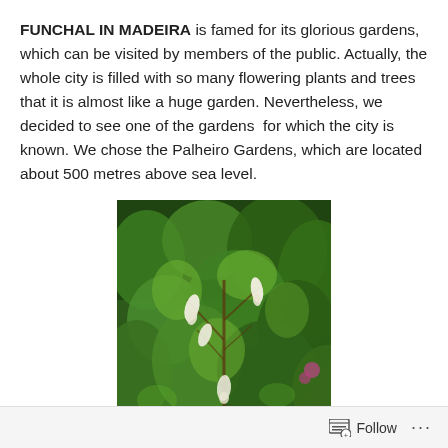FUNCHAL IN MADEIRA is famed for its glorious gardens, which can be visited by members of the public. Actually, the whole city is filled with so many flowering plants and trees that it is almost like a huge garden. Nevertheless, we decided to see one of the gardens  for which the city is known. We chose the Palheiro Gardens, which are located about 500 metres above sea level.
[Figure (photo): A lush green garden scene with dense foliage, trees, and white hanging trumpet-shaped flowers (likely Brugmansia/angel's trumpets) amid rich green leaves and branches.]
Follow ···